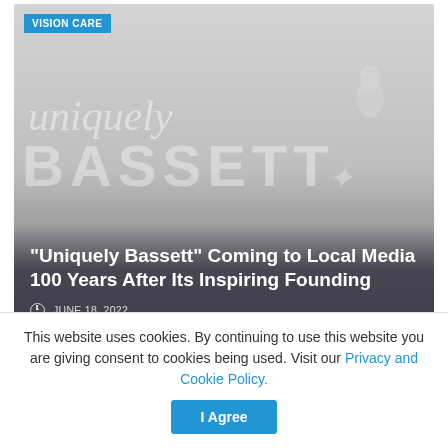[Figure (photo): Image card with 'Uniquely Bassett' branding text overlaid on a gray gradient background, with a white bird watermark in the upper right. Blue 'VISION CARE' badge in top left. Article title and date overlaid at bottom.]
“Uniquely Bassett” Coming to Local Media 100 Years After Its Inspiring Founding
JUNE 18, 2022
[Figure (photo): Second card with blue 'VISION CARE' badge on a light gray background.]
This website uses cookies. By continuing to use this website you are giving consent to cookies being used. Visit our Privacy and Cookie Policy.
I Agree